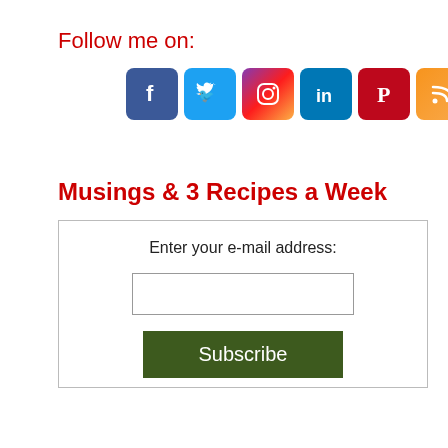Follow me on:
[Figure (illustration): Row of six social media icon buttons: Facebook (dark blue), Twitter (light blue), Instagram (purple/orange gradient), LinkedIn (blue), Pinterest (red), RSS feed (orange)]
Musings & 3 Recipes a Week
Enter your e-mail address:
[Figure (other): Email input text field]
[Figure (other): Subscribe button in dark green]